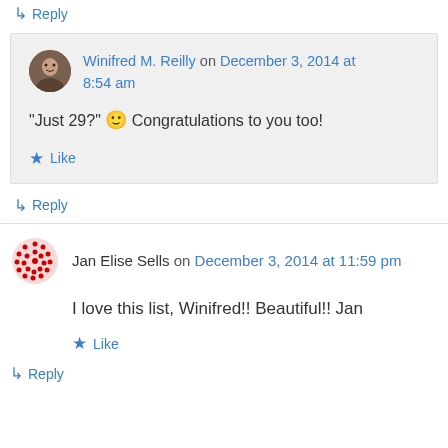↳ Reply
Winifred M. Reilly on December 3, 2014 at 8:54 am
"Just 29?" 🙂 Congratulations to you too!
Like
↳ Reply
Jan Elise Sells on December 3, 2014 at 11:59 pm
I love this list, Winifred!! Beautiful!!  Jan
Like
↳ Reply